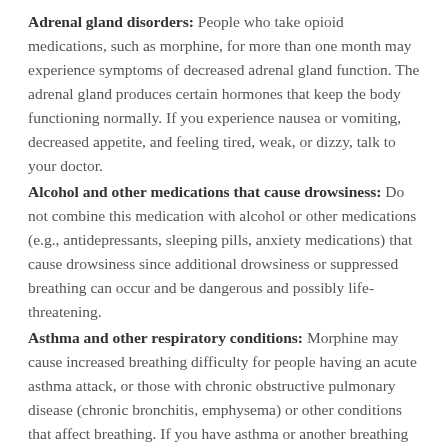Adrenal gland disorders: People who take opioid medications, such as morphine, for more than one month may experience symptoms of decreased adrenal gland function. The adrenal gland produces certain hormones that keep the body functioning normally. If you experience nausea or vomiting, decreased appetite, and feeling tired, weak, or dizzy, talk to your doctor.
Alcohol and other medications that cause drowsiness: Do not combine this medication with alcohol or other medications (e.g., antidepressants, sleeping pills, anxiety medications) that cause drowsiness since additional drowsiness or suppressed breathing can occur and be dangerous and possibly life-threatening.
Asthma and other respiratory conditions: Morphine may cause increased breathing difficulty for people having an acute asthma attack, or those with chronic obstructive pulmonary disease (chronic bronchitis, emphysema) or other conditions that affect breathing. If you have asthma or another breathing